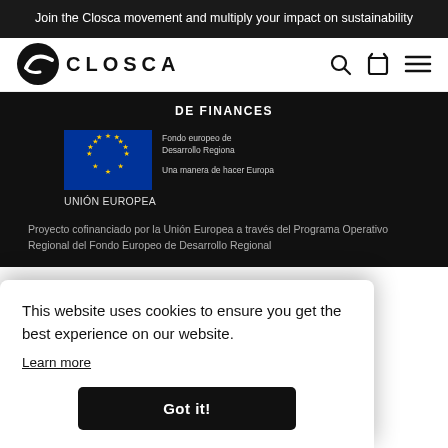Join the Closca movement and multiply your impact on sustainability
[Figure (logo): Closca logo: black circle with stylized white swoosh, followed by CLOSCA text in bold uppercase letters]
DE FINANCES
[Figure (illustration): EU flag (blue rectangle with circle of yellow stars) with text 'Fondo europeo de Desarrollo Regional' and 'Una manera de hacer Europa' and 'UNIÓN EUROPEA']
Proyecto cofinanciado por la Unión Europea a través del Programa Operativo Regional del Fondo Europeo de Desarrollo Regional
This website uses cookies to ensure you get the best experience on our website.
Learn more
Got it!